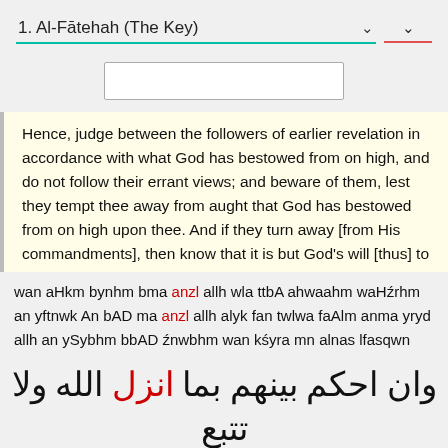1. Al-Fātehah (The Key)
Hence, judge between the followers of earlier revelation in accordance with what God has bestowed from on high, and do not follow their errant views; and beware of them, lest they tempt thee away from aught that God has bestowed from on high upon thee. And if they turn away [from His commandments], then know that it is but God's will [thus] to afflict them for some of their sins:* for, behold, a great many people are iniquitous indeed.
wan aHkm bynhm bma anzl allh wla ttbA ahwaahm waHźrhm an yftnwk An bAD ma anzl allh alyk fan twlwa faAlm anma yryd allh an ySybhm bbAD źnwbhm wan kśyra mn alnas lfasqwn
وان احكم بينهم بما انزل الله ولا تتبع